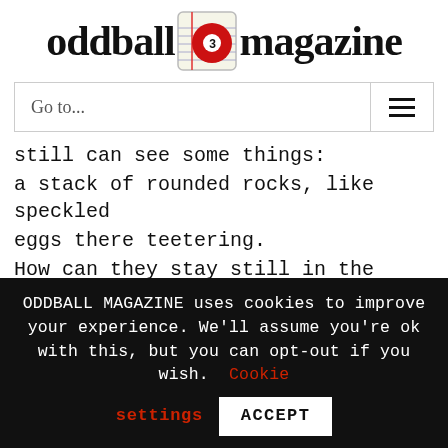[Figure (logo): Oddball Magazine logo with red billiard ball number 3 inside a notebook icon, and text 'oddball magazine']
Go to...
still can see some things:
a stack of rounded rocks, like speckled eggs there teetering.
How can they stay still in the picture's
ODDBALL MAGAZINE uses cookies to improve your experience. We'll assume you're ok with this, but you can opt-out if you wish. Cookie settings ACCEPT